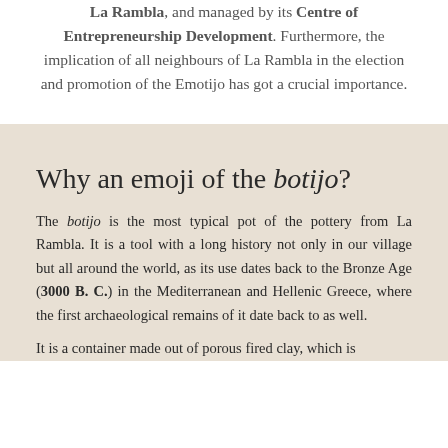La Rambla, and managed by its Centre of Entrepreneurship Development. Furthermore, the implication of all neighbours of La Rambla in the election and promotion of the Emotijo has got a crucial importance.
Why an emoji of the botijo?
The botijo is the most typical pot of the pottery from La Rambla. It is a tool with a long history not only in our village but all around the world, as its use dates back to the Bronze Age (3000 B. C.) in the Mediterranean and Hellenic Greece, where the first archaeological remains of it date back to as well.
It is a container made out of porous fired clay, which is